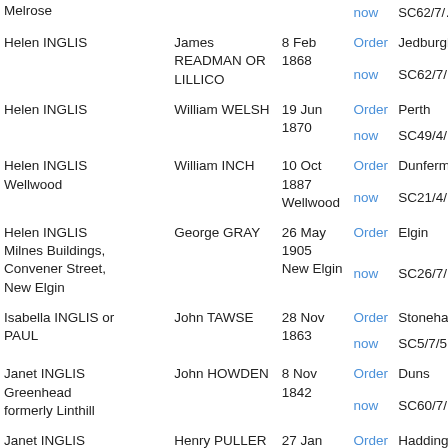| Name | Spouse | Date | Order | Reference |
| --- | --- | --- | --- | --- |
| Melrose |  |  | now | SC62/7/… |
| Helen INGLIS | James READMAN OR LILLICO | 8 Feb 1868 | Order now | Jedburgh SC62/7/… |
| Helen INGLIS | William WELSH | 19 Jun 1870 | Order now | Perth SC49/4/… |
| Helen INGLIS Wellwood | William INCH | 10 Oct 1887 Wellwood | Order now | Dunferm… SC21/4/… |
| Helen INGLIS Milnes Buildings, Convener Street, New Elgin | George GRAY | 26 May 1905 New Elgin | Order now | Elgin SC26/7/… |
| Isabella INGLIS or PAUL | John TAWSE | 28 Nov 1863 | Order now | Stoneh… SC5/7/5 |
| Janet INGLIS Greenhead formerly Linthill | John HOWDEN | 8 Nov 1842 | Order now | Duns SC60/7/… |
| Janet INGLIS | Henry PULLER OR FOWLER | 27 Jan 1860 | Order now | Hadding… SC40/7/… |
| Janet INGLIS or YOUNG |  |  | Order | Kirkcaldy… |